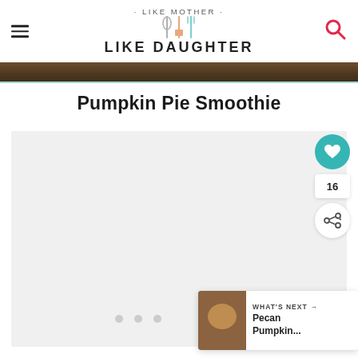LIKE MOTHER LIKE DAUGHTER
[Figure (photo): Dark brown wooden background strip at top of content area]
Pumpkin Pie Smoothie
[Figure (photo): Large image placeholder for Pumpkin Pie Smoothie recipe photo]
16
WHAT'S NEXT → Pecan Pumpkin...